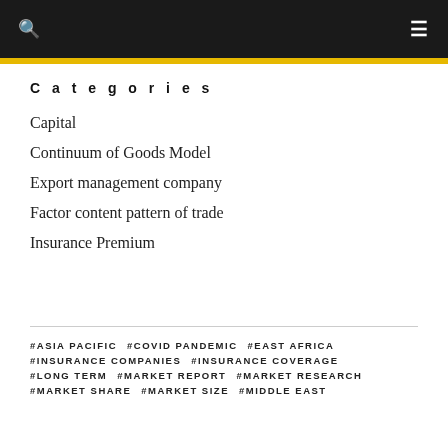🔍 ≡
Categories
Capital
Continuum of Goods Model
Export management company
Factor content pattern of trade
Insurance Premium
#ASIA PACIFIC   #COVID PANDEMIC   #EAST AFRICA   #INSURANCE COMPANIES   #INSURANCE COVERAGE   #LONG TERM   #MARKET REPORT   #MARKET RESEARCH   #MARKET SHARE   #MARKET SIZE   #MIDDLE EAST